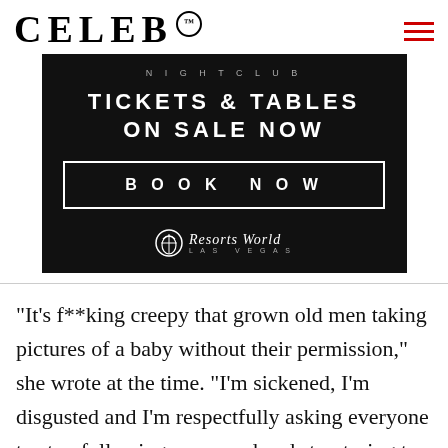CELEB™
[Figure (advertisement): Dark nightclub advertisement banner reading 'NIGHTCLUB / TICKETS & TABLES ON SALE NOW / BOOK NOW' with Resorts World Las Vegas logo]
“It’s f**king creepy that grown old men taking pictures of a baby without their permission,” she wrote at the time. “I’m sickened, I’m disgusted and I’m respectfully asking everyone to stop following us around and stop trying to take pictures of our